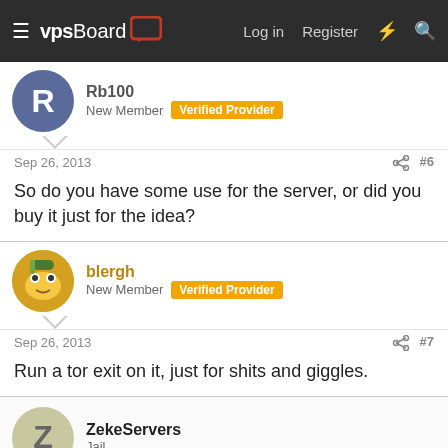vpsBoard — Log in  Register
Rb100 — New Member  Verified Provider
Sep 26, 2013  #6
So do you have some use for the server, or did you buy it just for the idea?
blergh — New Member  Verified Provider
Sep 26, 2013  #7
Run a tor exit on it, just for shits and giggles.
ZekeServers — Jail